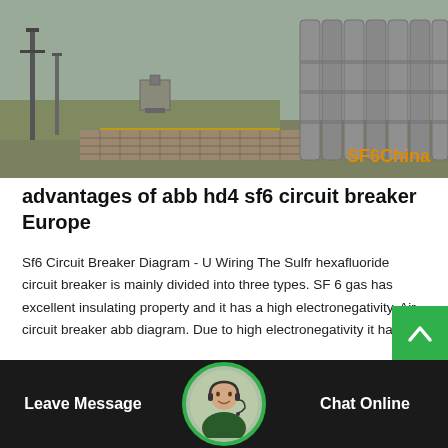[Figure (photo): Outdoor SF6 circuit breaker installation with gas cylinders and industrial equipment. SF6China watermark in bottom right corner.]
advantages of abb hd4 sf6 circuit breaker Europe
Sf6 Circuit Breaker Diagram - U Wiring The Sulfr hexafluoride circuit breaker is mainly divided into three types. SF 6 gas has excellent insulating property and it has a high electronegativity. Air circuit breaker abb diagram. Due to high electronegativity it has a…
Get Price
Leave Message
Chat Online